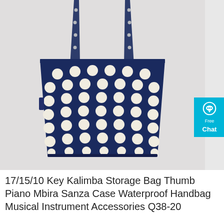[Figure (photo): A navy blue polka dot tote bag with cream/white dots, hanging by its straps against a light gray background. The bag is a rectangular tote shape with two handles.]
[Figure (other): A cyan/teal 'Free Chat' button widget overlaid on the top-right corner of the product image, with a speech bubble icon.]
17/15/10 Key Kalimba Storage Bag Thumb Piano Mbira Sanza Case Waterproof Handbag Musical Instrument Accessories Q38-20